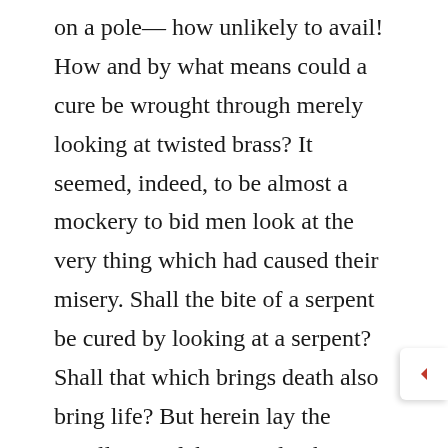on a pole— how unlikely to avail! How and by what means could a cure be wrought through merely looking at twisted brass? It seemed, indeed, to be almost a mockery to bid men look at the very thing which had caused their misery. Shall the bite of a serpent be cured by looking at a serpent? Shall that which brings death also bring life? But herein lay the excellency of the remedy, that it was of divine origin; for when God ordains a cure he is by that very fact bound to put potency into it. He will not devise a failure, nor prescribe a